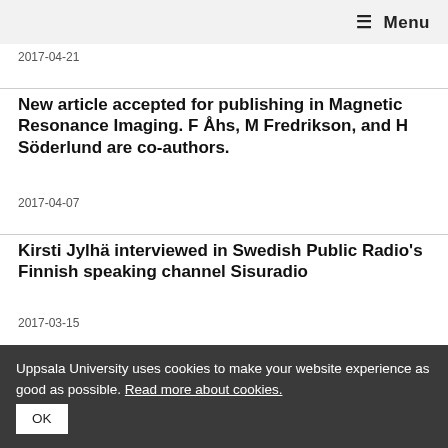≡ Menu
2017-04-21
New article accepted for publishing in Magnetic Resonance Imaging. F Åhs, M Fredrikson, and H Söderlund are co-authors.
2017-04-07
Kirsti Jylhä interviewed in Swedish Public Radio's Finnish speaking channel Sisuradio
2017-03-15
Uppsala University uses cookies to make your website experience as good as possible. Read more about cookies. OK